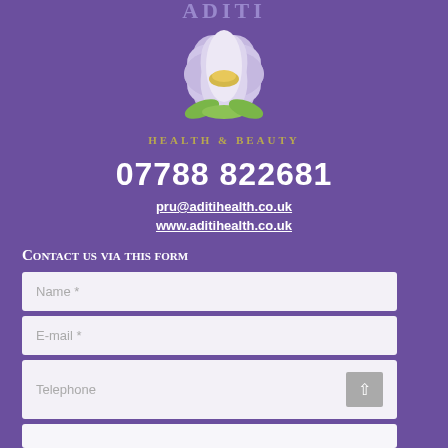[Figure (logo): Aditi Health & Beauty logo with lotus flower in purple/white/gold colors and text 'ADITI' above and 'HEALTH & BEAUTY' below]
07788 822681
pru@aditihealth.co.uk
www.aditihealth.co.uk
Contact us via this form
Name *
E-mail *
Telephone